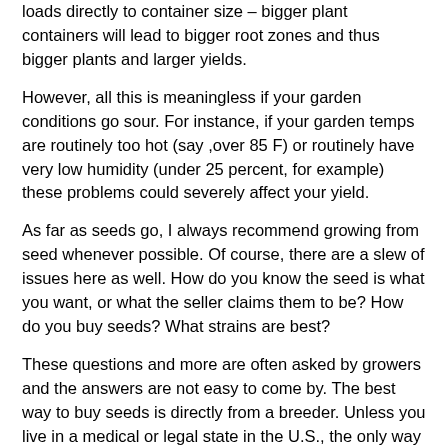loads directly to container size – bigger plant containers will lead to bigger root zones and thus bigger plants and larger yields.
However, all this is meaningless if your garden conditions go sour. For instance, if your garden temps are routinely too hot (say ,over 85 F) or routinely have very low humidity (under 25 percent, for example) these problems could severely affect your yield.
As far as seeds go, I always recommend growing from seed whenever possible. Of course, there are a slew of issues here as well. How do you know the seed is what you want, or what the seller claims them to be? How do you buy seeds? What strains are best?
These questions and more are often asked by growers and the answers are not easy to come by. The best way to buy seeds is directly from a breeder. Unless you live in a medical or legal state in the U.S., the only way to do this is online or by traveling far and away. Forums and seed store websites can be hit or miss. And shipping is always a concern, especially if it is international. In the